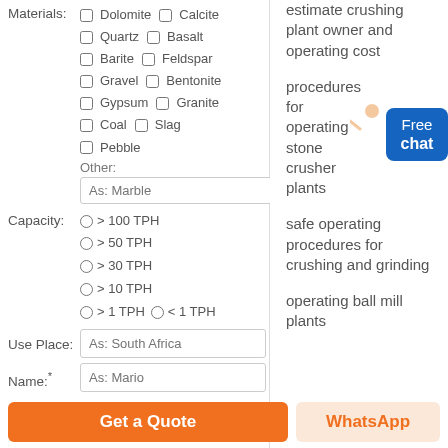Materials: Dolomite, Calcite, Quartz, Basalt, Barite, Feldspar, Gravel, Bentonite, Gypsum, Granite, Coal, Slag, Pebble, Other: As: Marble
Capacity: > 100 TPH, > 50 TPH, > 30 TPH, > 10 TPH, > 1 TPH, < 1 TPH
Use Place: As: South Africa
Name:* As: Mario
estimate crushing plant owner and operating cost
procedures for operating stone crusher plants
safe operating procedures for crushing and grinding
operating ball mill plants
Get a Quote
WhatsApp